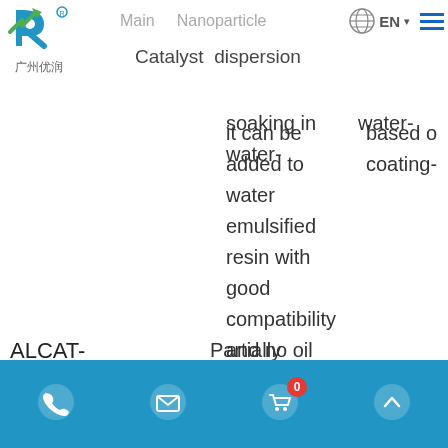[Figure (logo): Guangzhou Yourui (广州优润) company logo with stylized R letter in green and blue]
Main   Nanoparticle
Catalyst dispersion
soaking in water-
based c
coating-
it can be added to water emulsified resin with good compatibility and no oil slick, stratification and precipitation; The paint film dries fast and can
ALCAT-CS10A
Partially water soluble
Phone | Email | Cart (0) | Back to top